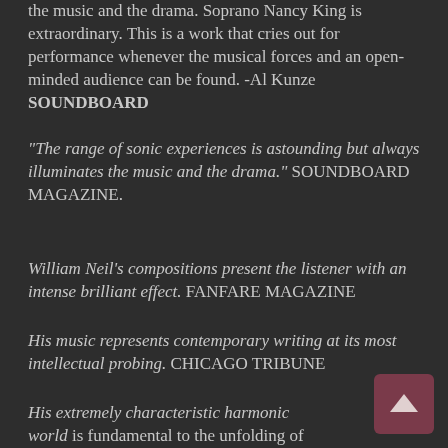the music and the drama. Soprano Nancy King is extraordinary. This is a work that cries out for performance whenever the musical forces and an open-minded audience can be found. -Al Kunze SOUNDBOARD
“The range of sonic experiences is astounding but always illuminates the music and the drama.” SOUNDBOARD MAGAZINE.
William Neil’s compositions present the listener with an intense brilliant effect. FANFARE MAGAZINE
His music represents contemporary writing at its most intellectual probing. CHICAGO TRIBUNE
His extremely characteristic harmonic world is fundamental to the unfolding of his music.